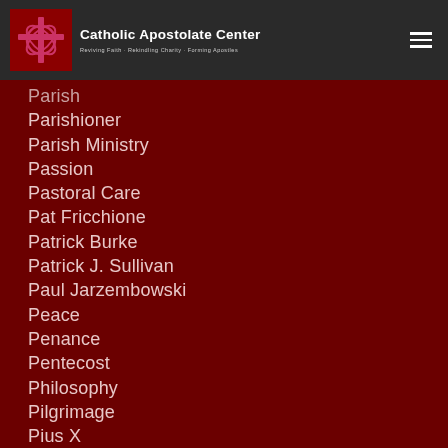[Figure (logo): Catholic Apostolate Center logo with cross icon and tagline: Reviving Faith · Rekindling Charity · Forming Apostles]
Parish
Parishioner
Parish Ministry
Passion
Pastoral Care
Pat Fricchione
Patrick Burke
Patrick J. Sullivan
Paul Jarzembowski
Peace
Penance
Pentecost
Philosophy
Pilgrimage
Pius X
Planning
Plenary Indulgence